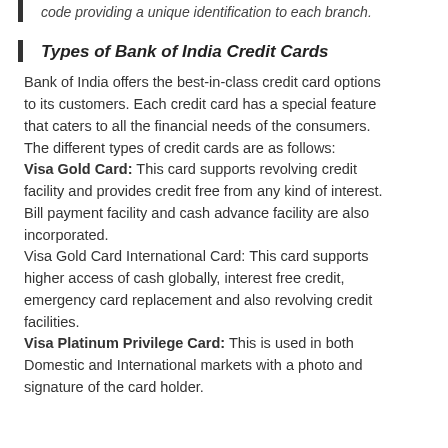code providing a unique identification to each branch.
Types of Bank of India Credit Cards
Bank of India offers the best-in-class credit card options to its customers. Each credit card has a special feature that caters to all the financial needs of the consumers. The different types of credit cards are as follows: Visa Gold Card: This card supports revolving credit facility and provides credit free from any kind of interest. Bill payment facility and cash advance facility are also incorporated. Visa Gold Card International Card: This card supports higher access of cash globally, interest free credit, emergency card replacement and also revolving credit facilities. Visa Platinum Privilege Card: This is used in both Domestic and International markets with a photo and signature of the card holder.